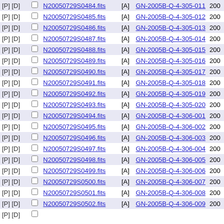|  |  | Filename | Flag | Program ID | Year |
| --- | --- | --- | --- | --- | --- |
| [P] [D] | ☐ | N20050729S0484.fits | [A] | GN-2005B-Q-4-305-011 | 200… |
| [P] [D] | ☐ | N20050729S0485.fits | [A] | GN-2005B-Q-4-305-012 | 200… |
| [P] [D] | ☐ | N20050729S0486.fits | [A] | GN-2005B-Q-4-305-013 | 200… |
| [P] [D] | ☐ | N20050729S0487.fits | [A] | GN-2005B-Q-4-305-014 | 200… |
| [P] [D] | ☐ | N20050729S0488.fits | [A] | GN-2005B-Q-4-305-015 | 200… |
| [P] [D] | ☐ | N20050729S0489.fits | [A] | GN-2005B-Q-4-305-016 | 200… |
| [P] [D] | ☐ | N20050729S0490.fits | [A] | GN-2005B-Q-4-305-017 | 200… |
| [P] [D] | ☐ | N20050729S0491.fits | [A] | GN-2005B-Q-4-305-018 | 200… |
| [P] [D] | ☐ | N20050729S0492.fits | [A] | GN-2005B-Q-4-305-019 | 200… |
| [P] [D] | ☐ | N20050729S0493.fits | [A] | GN-2005B-Q-4-305-020 | 200… |
| [P] [D] | ☐ | N20050729S0494.fits | [A] | GN-2005B-Q-4-306-001 | 200… |
| [P] [D] | ☐ | N20050729S0495.fits | [A] | GN-2005B-Q-4-306-002 | 200… |
| [P] [D] | ☐ | N20050729S0496.fits | [A] | GN-2005B-Q-4-306-003 | 200… |
| [P] [D] | ☐ | N20050729S0497.fits | [A] | GN-2005B-Q-4-306-004 | 200… |
| [P] [D] | ☐ | N20050729S0498.fits | [A] | GN-2005B-Q-4-306-005 | 200… |
| [P] [D] | ☐ | N20050729S0499.fits | [A] | GN-2005B-Q-4-306-006 | 200… |
| [P] [D] | ☐ | N20050729S0500.fits | [A] | GN-2005B-Q-4-306-007 | 200… |
| [P] [D] | ☐ | N20050729S0501.fits | [A] | GN-2005B-Q-4-306-008 | 200… |
| [P] [D] | ☐ | N20050729S0502.fits | [A] | GN-2005B-Q-4-306-009 | 200… |